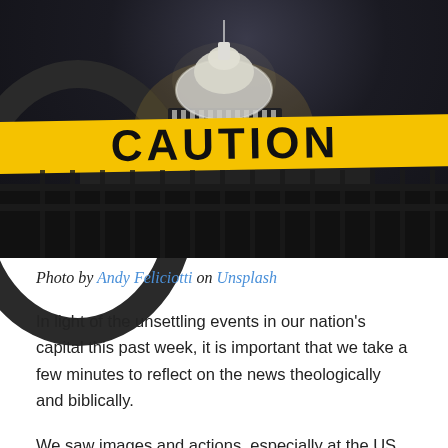[Figure (photo): Nighttime photo of the US Capitol building with its illuminated dome visible behind a yellow CAUTION tape barrier and dark metal fencing, viewed through a circular ring/frame on the left side.]
Photo by Andy Feliciotti on Unsplash
In light of the unsettling events in our nation's capital this past week, it is important that we take a few minutes to reflect on the news theologically and biblically.
We saw images and actions, especially at the US Capitol building, which were difficult and disturbing, not just as